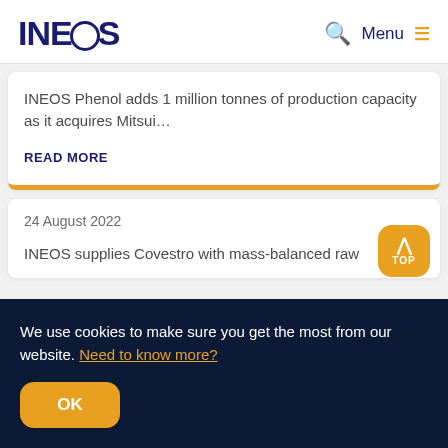INEOS — Menu
INEOS Phenol adds 1 million tonnes of production capacity as it acquires Mitsui...
READ MORE
24 August 2022
INEOS supplies Covestro with mass-balanced raw
We use cookies to make sure you get the most from our website. Need to know more?
OK